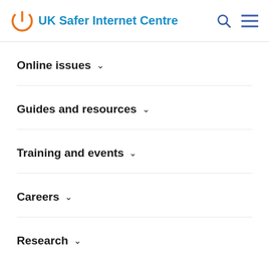UK Safer Internet Centre
Online issues
Guides and resources
Training and events
Careers
Research